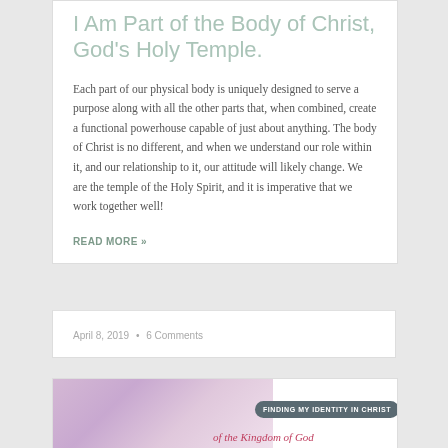I Am Part of the Body of Christ, God's Holy Temple.
Each part of our physical body is uniquely designed to serve a purpose along with all the other parts that, when combined, create a functional powerhouse capable of just about anything. The body of Christ is no different, and when we understand our role within it, and our relationship to it, our attitude will likely change. We are the temple of the Holy Spirit, and it is imperative that we work together well!
READ MORE »
April 8, 2019  •  6 Comments
[Figure (illustration): Bottom teaser card showing a soft purple/pink floral background image with a dark rounded badge reading 'FINDING MY IDENTITY IN CHRIST' and italic red text reading 'of the Kingdom of God']